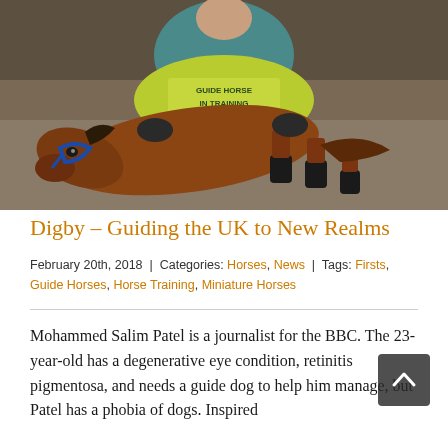[Figure (photo): A small brown miniature horse lying on the ground wearing a yellow-green vest that reads 'GUIDE HORSE IN TRAINING'. A person in a teal jacket is seated behind the horse. The horse has a blue halter and small black hoof boots.]
Digby – Guiding the UK to New Realms
February 20th, 2018  |  Categories: Horses, News  |  Tags: Firsts, Guide Horses, Horse Training, Miniature Horses
Mohammed Salim Patel is a journalist for the BBC. The 23-year-old has a degenerative eye condition, retinitis pigmentosa, and needs a guide dog to help him manage, but Patel has a phobia of dogs. Inspired